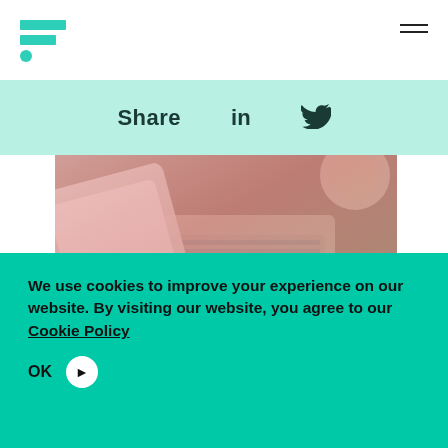[Figure (logo): Teal/green logo mark with two horizontal bars and a dot]
Share  in  [twitter]
[Figure (photo): Photo of smartphone, laptop keyboard, and credit card on a desk with a warm pink/red toned overlay]
We use cookies to improve your experience on our website. By visiting our website, you agree to our Cookie Policy
OK >